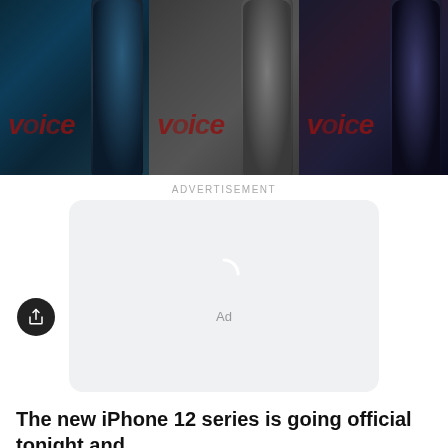[Figure (screenshot): Three iPhone 12 product images side by side with 'voice' watermark logo in red italic text over dark background phone images]
ADVERTISEMENT
[Figure (screenshot): Advertisement placeholder box with loading spinner arc and 'Ad' text in gray, light gray rounded rectangle background]
The new iPhone 12 series is going official tonight and